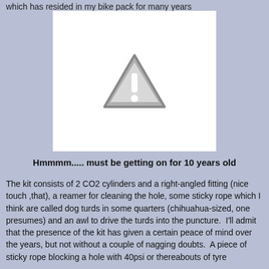which has resided in my bike pack for many years
[Figure (photo): Image placeholder with warning triangle icon on white background]
Hmmmm..... must be getting on for 10 years old
The kit consists of 2 CO2 cylinders and a right-angled fitting (nice touch ,that), a reamer for cleaning the hole, some sticky rope which I think are called dog turds in some quarters (chihuahua-sized, one presumes) and an awl to drive the turds into the puncture.  I'll admit that the presence of the kit has given a certain peace of mind over the years, but not without a couple of nagging doubts.  A piece of sticky rope blocking a hole with 40psi or thereabouts of tyre